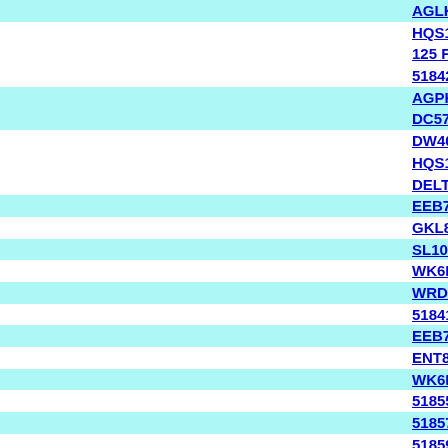AGLKQR-18IN GLT 18IN QUICK RELEASE LONG K
HQS176 ETI HB1-3/8X12 QTR-COR BLD PASS SD
125 FIN STRAIGHT BLADE 2 PER PACK
51842 ETI 1 IN REVERS PWR COLD KNIFE BLD
AGPKB-1IN GLT PULL KNIFE BLADE 1 INCH 5 PK
DC570 ETI DASH/VENT COVERS
DW400 ETI BMW DOOR WRENCH
HQS177 ETI HB1-3/8X12 QTR-COR BLD DRIV SD
DELTA-L ETI LONG 6 3-4 X 4 WIDE BLADE
EEB797PKG ETI 12 IN BLADE PKG OF 5
GKL868 ETI 12-VOLT UV LAMP
SL1000 ETI SAFELIFT GLASS SETTING DEVICE
WK6NKIT ETI BTB NARROR PINCHWLED PREP K
WRD-SRB17 WRD 17MM STINGRAY BLD
51841 ETI 3-4 REVERS POWR COLD KNIFE BLD
EEB793 ETI 4 IN BLADE
ENT840 ETI 3-4 IN BLADE FOR NINJA
WK6LN ETI 1IN BTB PINCHWELD PREP BLADE
51855 ETI HOOKED BLADE -3-4 IN
51857 ETI 1 1-2 IN HOOKED BLADE
51859 ETI HOCKED BLADE 3 1-2 IN
AGLKQR-13IN GLT 13IN QUICK RELEASE LONG K
B16 WRD 10PACK 16MM SUPER BLD
HQW178 ETI HBLADE 2"X12"QTR/CRNR PSNGR S
TSB6608 ETI TIMESAVER BLADES 8 1/2 INCH
HRS085 ETI WIRE REMOVAL GUIDE PINS